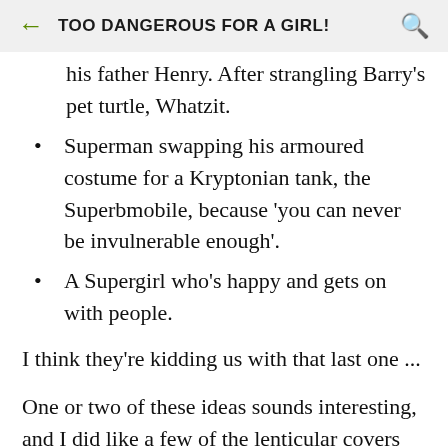TOO DANGEROUS FOR A GIRL!
his father Henry. After strangling Barry's pet turtle, Whatzit.
Superman swapping his armoured costume for a Kryptonian tank, the Superbmobile, because 'you can never be invulnerable enough'.
A Supergirl who's happy and gets on with people.
I think they're kidding us with that last one ...
One or two of these ideas sounds interesting, and I did like a few of the lenticular covers